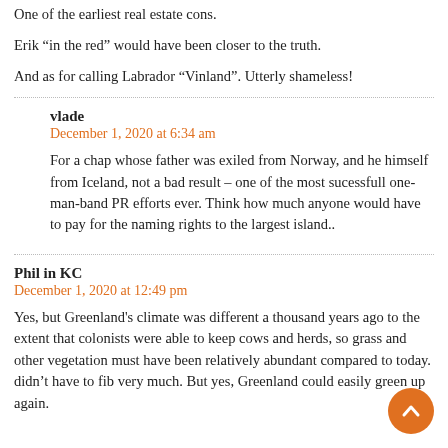One of the earliest real estate cons.
Erik “in the red” would have been closer to the truth.
And as for calling Labrador “Vinland”. Utterly shameless!
vlade
December 1, 2020 at 6:34 am
For a chap whose father was exiled from Norway, and he himself from Iceland, not a bad result – one of the most sucessfull one-man-band PR efforts ever. Think how much anyone would have to pay for the naming rights to the largest island..
Phil in KC
December 1, 2020 at 12:49 pm
Yes, but Greenland's climate was different a thousand years ago to the extent that colonists were able to keep cows and herds, so grass and other vegetation must have been relatively abundant compared to today. didn’t have to fib very much. But yes, Greenland could easily green up again.